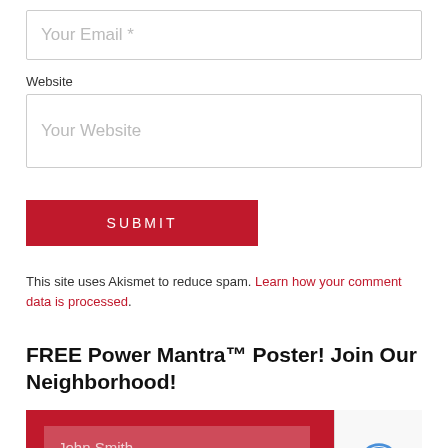[Figure (screenshot): Email input field with placeholder text 'Your Email *']
Website
[Figure (screenshot): Website input field with placeholder text 'Your Website']
[Figure (screenshot): Red SUBMIT button]
This site uses Akismet to reduce spam. Learn how your comment data is processed.
FREE Power Mantra™ Poster! Join Our Neighborhood!
[Figure (screenshot): Red signup box with 'John Smith' name input field and 'john.smith@example.com' email input field, with reCAPTCHA badge in the corner]